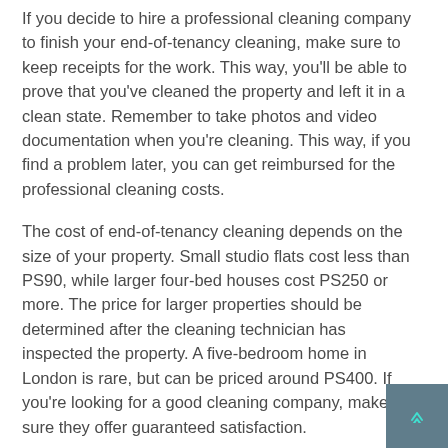If you decide to hire a professional cleaning company to finish your end-of-tenancy cleaning, make sure to keep receipts for the work. This way, you'll be able to prove that you've cleaned the property and left it in a clean state. Remember to take photos and video documentation when you're cleaning. This way, if you find a problem later, you can get reimbursed for the professional cleaning costs.
The cost of end-of-tenancy cleaning depends on the size of your property. Small studio flats cost less than PS90, while larger four-bed houses cost PS250 or more. The price for larger properties should be determined after the cleaning technician has inspected the property. A five-bedroom home in London is rare, but can be priced around PS400. If you're looking for a good cleaning company, make sure they offer guaranteed satisfaction.
Some end-of-tenancy cleaning companies charge more than others for items that require more time or specialist equipment to clean. For example, rugs, curtains, and carpets may require more cleaning time than other areas. Make sure to double-check with your landlord before signing a cleaning agreement, or check with the end-of-tenancy cleaning company about any additional costs before signing the contract. The more thorough your cleaning is, the